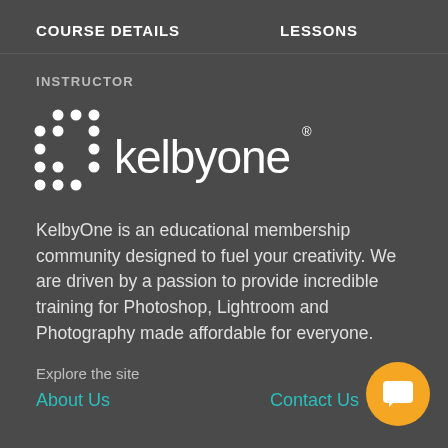COURSE DETAILS    LESSONS
INSTRUCTOR
[Figure (logo): KelbyOne logo — white dots pattern on left, white text 'kelbyone' on right]
KelbyOne is an educational membership community designed to fuel your creativity. We are driven by a passion to provide incredible training for Photoshop, Lightroom and Photography made affordable for everyone.
Explore the site
About Us    Contact Us